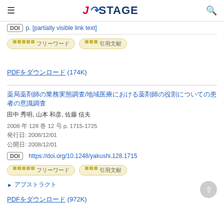J-STAGE
DOI [link text partially visible]
Tags: フリーワード, 引用文献
PDFをダウンロード (174K)
薬局薬剤師の業務実態調査/地域医療における薬剤師の役割についての患者の意識調査
田中 秀明, 山本 和彦, 佐藤 信夫
2008 年 128 巻 12 号 p. 1715-1725
発行日: 2008/12/01
公開日: 2008/12/01
DOI https://doi.org/10.1248/yakushi.128.1715
Tags: フリーワード, 引用文献
▶ アブストラクト
PDFをダウンロード (972K)